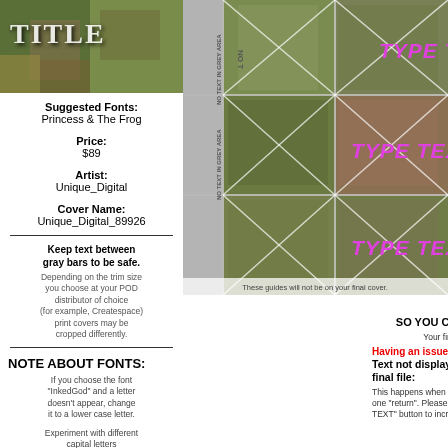[Figure (illustration): Book cover thumbnail with green/brown nature background and white 'TITLE' text overlay]
Suggested Fonts:
Princess & The Frog
Price:
$89
Artist:
Unique_Digital
Cover Name:
Unique_Digital_89926
Keep text between gray bars to be safe.
Depending on the trim size you choose at your POD distributor of choice (for example, Createspace) print covers may be cropped differently.
NOTE ABOUT FONTS:
If you choose the font "InkedGod" and a letter doesn't appear, change it to a lower case letter.
Experiment with different capital letters
[Figure (illustration): Book cover design template showing a 3x3 grid with photo placeholders, grey 'NO TEXT IN GREY AREA' side bars, X-marked photo cells, and magenta placeholder text labels: TYPE TEXT 2, TYPE TEXT 3, TYPE TEXT 4. Bottom note: 'These guides will not be on your final cover.']
PLEASE SIGN UP
SO YOU CAN BUY OR SAVE THIS COVER
Your final cover will not have a guide on it.
Having an issue with your customization?
Text not displaying properly when you download your final file:
This happens when you break a line of text with one "return". Please use the "SPACE BETWEEN TEXT" button to increase the space between your